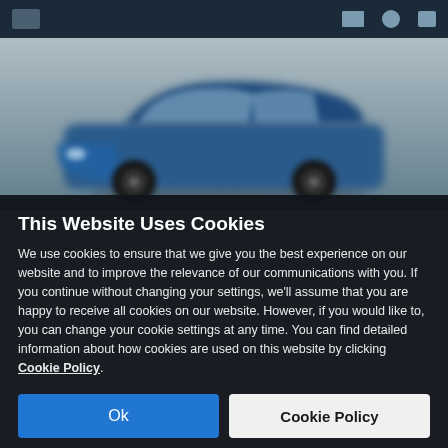[Figure (screenshot): Blurred screenshot of a car website showing a blue SUV/convertible vehicle against a grey background, with a dark navigation bar at the top.]
This Website Uses Cookies
We use cookies to ensure that we give you the best experience on our website and to improve the relevance of our communications with you. If you continue without changing your settings, we'll assume that you are happy to receive all cookies on our website. However, if you would like to, you can change your cookie settings at any time. You can find detailed information about how cookies are used on this website by clicking Cookie Policy.